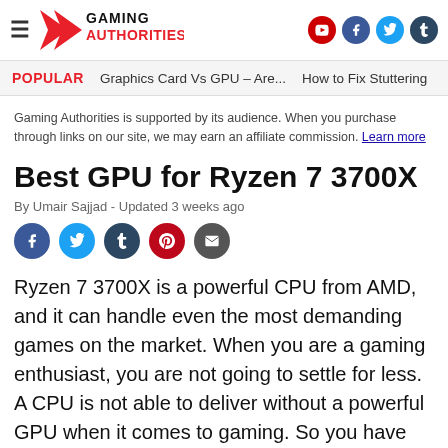Gaming Authorities
POPULAR   Graphics Card Vs GPU – Are...   How to Fix Stuttering
Gaming Authorities is supported by its audience. When you purchase through links on our site, we may earn an affiliate commission. Learn more
Best GPU for Ryzen 7 3700X
By Umair Sajjad - Updated 3 weeks ago
Ryzen 7 3700X is a powerful CPU from AMD, and it can handle even the most demanding games on the market. When you are a gaming enthusiast, you are not going to settle for less. A CPU is not able to deliver without a powerful GPU when it comes to gaming. So you have